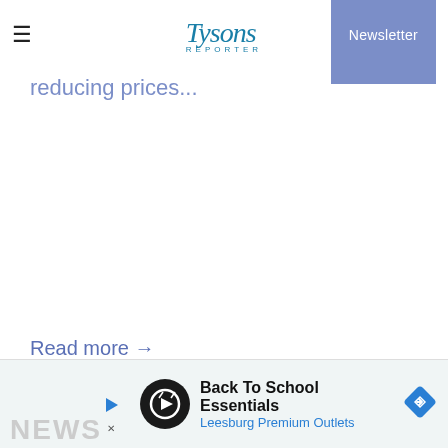Tysons Reporter — Newsletter
reducing prices...
Read more →
[Figure (infographic): Advertisement banner for Back To School Essentials at Leesburg Premium Outlets with play button icon and navigation arrow icon]